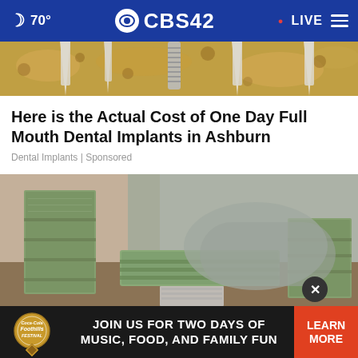70° CBS42 LIVE
[Figure (photo): Close-up photo of dental implants embedded in jawbone material, showing multiple implant posts and screw-type fixtures]
Here is the Actual Cost of One Day Full Mouth Dental Implants in Ashburn
Dental Implants | Sponsored
[Figure (photo): Photo of stacked bundles of US dollar bills on a table, with a person in grey clothing in the background]
[Figure (photo): Advertisement banner for Coca-Cola Foothills Festival reading: JOIN US FOR TWO DAYS OF MUSIC, FOOD, AND FAMILY FUN with LEARN MORE button]